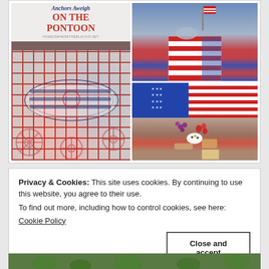[Figure (photo): Blog post featured image collage for 'Anchors Aweigh on the Pontoon' from homeiswheretheblackis.net. Left: large image of nautical-themed table setting with red/white ship-wheel patterned tablecloth, navy striped plates, and silverware. Text overlay reads 'Anchors Aweigh ON THE PONTOON homeiswheretheblackis.net'. Right top: striped red, white and blue table with American flag and items on it. Right bottom: American flag tablecloth with food charcuterie board featuring grapes, strawberries, nuts, cheese, crackers, and a white bowl of olives.]
Privacy & Cookies: This site uses cookies. By continuing to use this website, you agree to their use.
To find out more, including how to control cookies, see here:
Cookie Policy
[Figure (photo): Partial view of a green leafy garden or plant image at the very bottom of the page.]